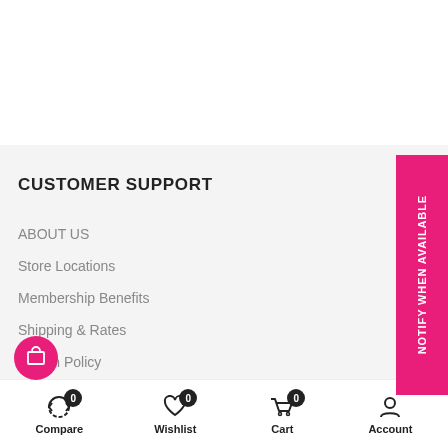CUSTOMER SUPPORT
ABOUT US
Store Locations
Membership Benefits
Shipping & Rates
Return Policy
Privacy Policy
Compare 0  Wishlist 0  Cart 0  Account